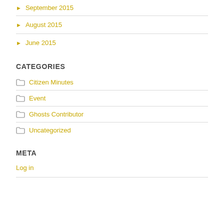September 2015
August 2015
June 2015
CATEGORIES
Citizen Minutes
Event
Ghosts Contributor
Uncategorized
META
Log in